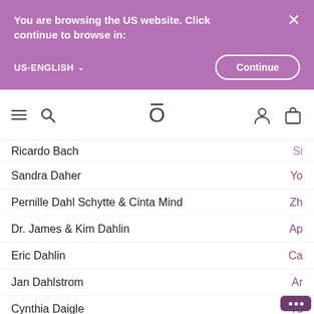You are browsing the US website. Click continue to browse in:
US-ENGLISH
Continue
[Figure (screenshot): Website navigation bar with hamburger menu, search icon, Oriflame logo, user account icon, and shopping bag icon]
Ricardo Bach
Sandra Daher
Pernille Dahl Schytte & Cinta Mind
Dr. James & Kim Dahlin
Eric Dahlin
Jan Dahlstrom
Cynthia Daigle
Annemarie Dalton
Christen Daly
Sayaka Dambara
Stephen & Shannon Damron